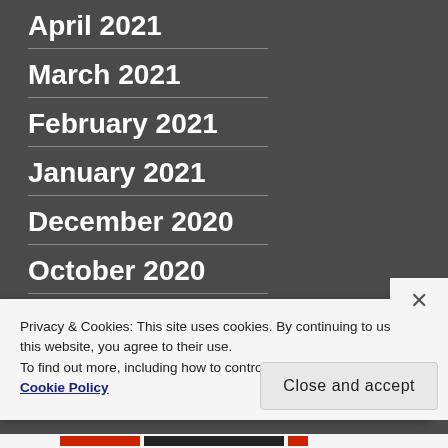April 2021
March 2021
February 2021
January 2021
December 2020
October 2020
September 2020
Privacy & Cookies: This site uses cookies. By continuing to use this website, you agree to their use.
To find out more, including how to control cookies, see here: Cookie Policy
Close and accept